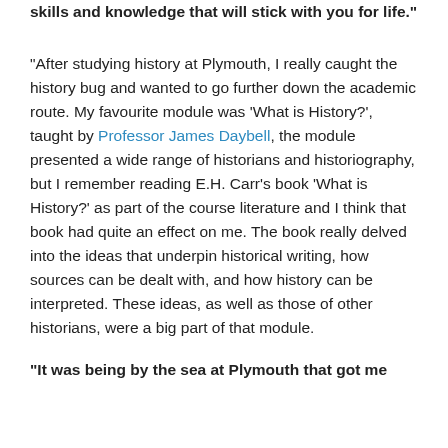skills and knowledge that will stick with you for life."
"After studying history at Plymouth, I really caught the history bug and wanted to go further down the academic route. My favourite module was ‘What is History?’, taught by Professor James Daybell, the module presented a wide range of historians and historiography, but I remember reading E.H. Carr’s book ‘What is History?’ as part of the course literature and I think that book had quite an effect on me. The book really delved into the ideas that underpin historical writing, how sources can be dealt with, and how history can be interpreted. These ideas, as well as those of other historians, were a big part of that module.
"It was being by the sea at Plymouth that got me